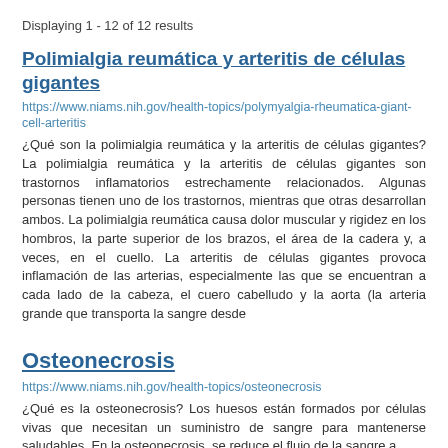Displaying 1 - 12 of 12 results
Polimialgia reumática y arteritis de células gigantes
https://www.niams.nih.gov/health-topics/polymyalgia-rheumatica-giant-cell-arteritis
¿Qué son la polimialgia reumática y la arteritis de células gigantes? La polimialgia reumática y la arteritis de células gigantes son trastornos inflamatorios estrechamente relacionados. Algunas personas tienen uno de los trastornos, mientras que otras desarrollan ambos. La polimialgia reumática causa dolor muscular y rigidez en los hombros, la parte superior de los brazos, el área de la cadera y, a veces, en el cuello. La arteritis de células gigantes provoca inflamación de las arterias, especialmente las que se encuentran a cada lado de la cabeza, el cuero cabelludo y la aorta (la arteria grande que transporta la sangre desde
Osteonecrosis
https://www.niams.nih.gov/health-topics/osteonecrosis
¿Qué es la osteonecrosis? Los huesos están formados por células vivas que necesitan un suministro de sangre para mantenerse saludables. En la osteonecrosis, se reduce el flujo de la sangre a